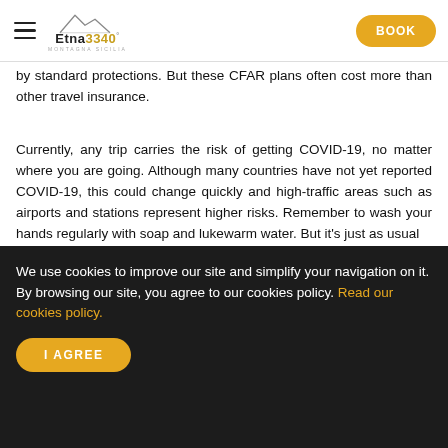Etna3340 | BOOK
by standard protections. But these CFAR plans often cost more than other travel insurance.
Currently, any trip carries the risk of getting COVID-19, no matter where you are going. Although many countries have not yet reported COVID-19, this could change quickly and high-traffic areas such as airports and stations represent higher risks. Remember to wash your hands regularly with soap and lukewarm water. But it's just as usual
[Figure (photo): Dark/black image strip at the bottom of the content area]
We use cookies to improve our site and simplify your navigation on it. By browsing our site, you agree to our cookies policy. Read our cookies policy.
I AGREE